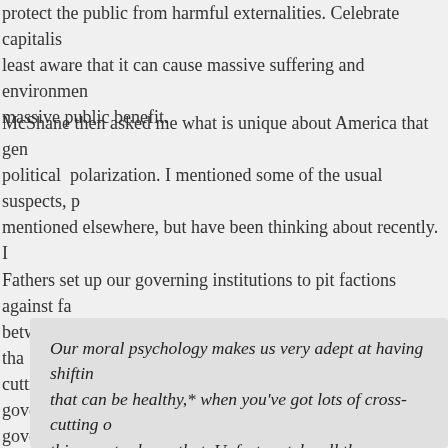protect the public from harmful externalities. Celebrate capitalism but be at least aware that it can cause massive suffering and environmental harm, as well as massive public benefit.
McShane then asked me what is unique about America that generates such political polarization. I mentioned some of the usual suspects, plus one I've mentioned elsewhere, but have been thinking about recently. I noted that the Founding Fathers set up our governing institutions to pit factions against factions, to create tension between competing interests and institutions. They expected that there would be cross-cutting divisions, such as the states vs. the federal government, or branches of government against each other. But in recent decades, the Left-Right division has risen to such prominence that it suppresses all other divisions, and that is bad for a democracy such as ours:
Our moral psychology makes us very adept at having shifting alliances, that can be healthy,* when you've got lots of cross-cutting divisions. Washington this country knew that. Unfortunately, all those cross-cutting divisions have melted away, and there's just one giant chasm, one giant fault line, and there's no crossing it anymore — the division is so sharp that line. And so our moral psychology...